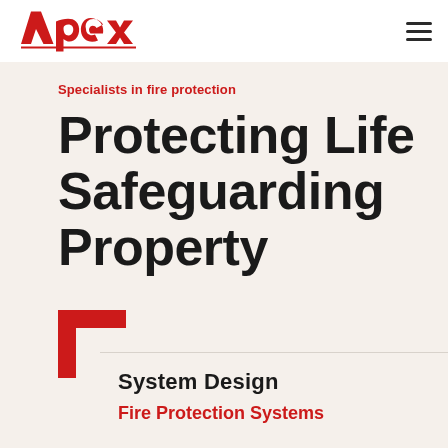[Figure (logo): Apex company logo in red italic script with underline]
Specialists in fire protection
Protecting Life Safeguarding Property
[Figure (other): Red L-shaped corner bracket graphic element]
System Design
Fire Protection Systems